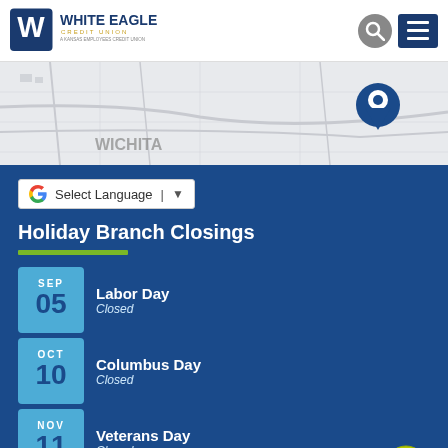[Figure (logo): White Eagle Credit Union logo with blue eagle/W shield and text]
[Figure (map): Map of Wichita area with location pin marker]
Select Language
Holiday Branch Closings
SEP 05 - Labor Day - Closed
OCT 10 - Columbus Day - Closed
NOV 11 - Veterans Day - Closed
NOV - Thanksgiving Day